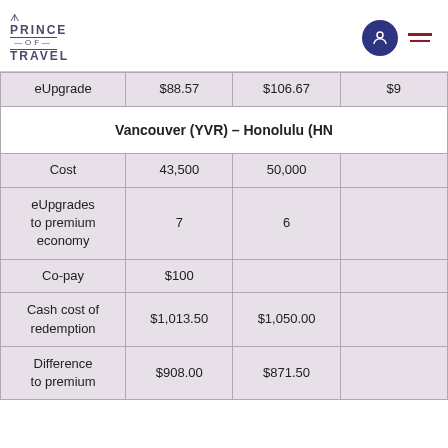Prince of Travel
|  | Col1 | Col2 | Col3 |
| --- | --- | --- | --- |
| eUpgrade | $88.57 | $106.67 | $9 |
| Vancouver (YVR) – Honolulu (HN |  |  |  |
| Cost | 43,500 | 50,000 |  |
| eUpgrades to premium economy | 7 | 6 |  |
| Co-pay | $100 |  |  |
| Cash cost of redemption | $1,013.50 | $1,050.00 |  |
| Difference to premium | $908.00 | $871.50 |  |